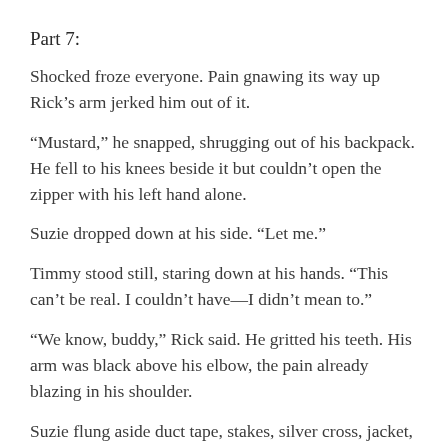Part 7:
Shocked froze everyone. Pain gnawing its way up Rick’s arm jerked him out of it.
“Mustard,” he snapped, shrugging out of his backpack. He fell to his knees beside it but couldn’t open the zipper with his left hand alone.
Suzie dropped down at his side. “Let me.”
Timmy stood still, staring down at his hands. “This can’t be real. I couldn’t have—I didn’t mean to.”
“We know, buddy,” Rick said. He gritted his teeth. His arm was black above his elbow, the pain already blazing in his shoulder.
Suzie flung aside duct tape, stakes, silver cross, jacket, camera, holy oil. Despite her steady, quick hands, fear tightened her face. “Rick, I can’t find—”